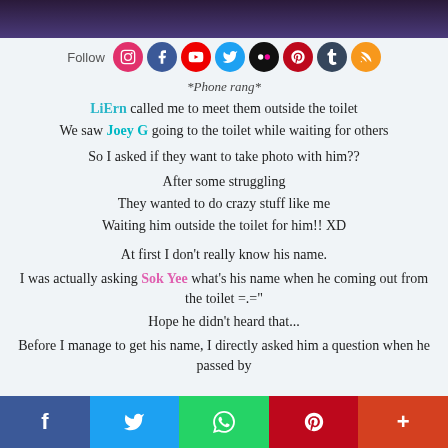[Figure (photo): Dark purple/blue background image at top of page]
*Phone rang*
LiErn called me to meet them outside the toilet
We saw Joey G going to the toilet while waiting for others
So I asked if they want to take photo with him??
After some struggling
They wanted to do crazy stuff like me
Waiting him outside the toilet for him!! XD
At first I don't really know his name.
I was actually asking Sok Yee what's his name when he coming out from the toilet =.="
Hope he didn't heard that...
Before I manage to get his name, I directly asked him a question when he passed by